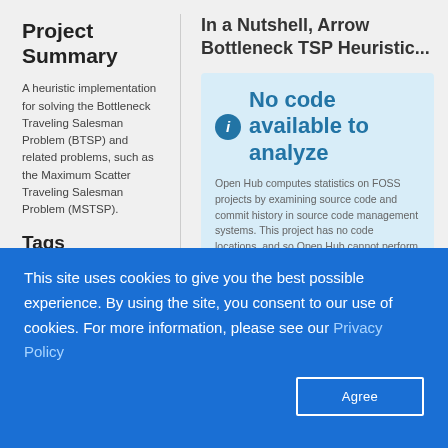Project Summary
A heuristic implementation for solving the Bottleneck Traveling Salesman Problem (BTSP) and related problems, such as the Maximum Scatter Traveling Salesman Problem (MSTSP).
Tags
In a Nutshell, Arrow Bottleneck TSP Heuristic...
No code available to analyze
Open Hub computes statistics on FOSS projects by examining source code and commit history in source code management systems. This project has no code locations, and so Open Hub cannot perform this analysis.
This site uses cookies to give you the best possible experience. By using the site, you consent to our use of cookies. For more information, please see our Privacy Policy